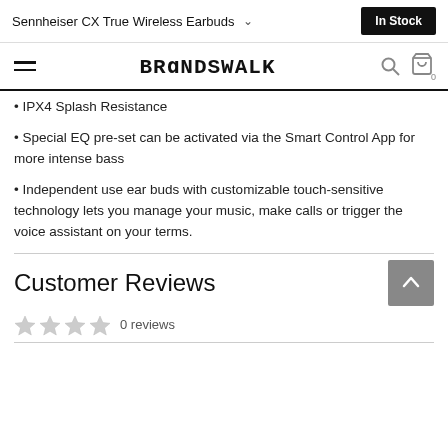Sennheiser CX True Wireless Earbuds   In Stock
BRANDSWALK
• IPX4 Splash Resistance
• Special EQ pre-set can be activated via the Smart Control App for more intense bass
• Independent use ear buds with customizable touch-sensitive technology lets you manage your music, make calls or trigger the voice assistant on your terms.
Customer Reviews
0 reviews